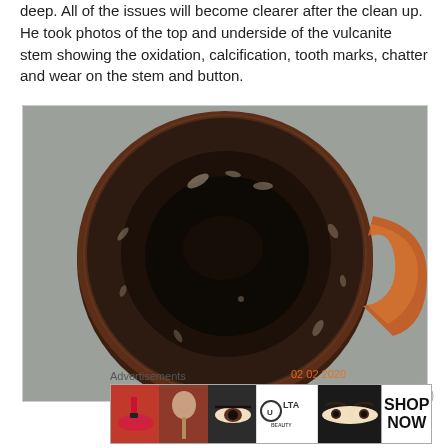deep. All of the issues will become clearer after the clean up. He took photos of the top and underside of the vulcanite stem showing the oxidation, calcification, tooth marks, chatter and wear on the stem and button.
[Figure (photo): Close-up photo of the top of a tobacco pipe bowl showing oxidation, dark carbon buildup, and wear on the briar wood rim. A date stamp '02 02 2020' appears in orange in the lower right corner.]
Advertisements
[Figure (screenshot): Advertisement banner for ULTA Beauty showing cosmetic product images including lips with lipstick, a makeup brush, an eye with eyeshadow, the ULTA Beauty logo, eyes with makeup, and a 'SHOP NOW' call to action.]